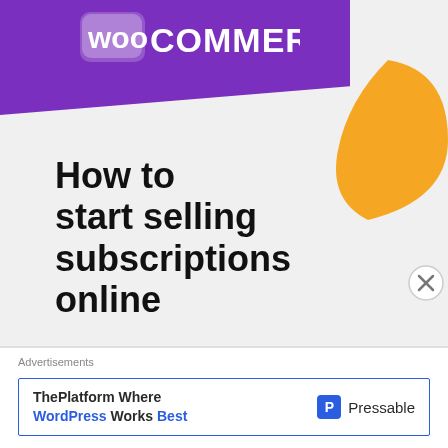[Figure (logo): WooCommerce logo in white on purple background with speech bubble icon]
[Figure (illustration): Orange decorative shape in top right corner]
How to start selling subscriptions online
[Figure (other): Purple rounded button labeled 'Start a new store']
[Figure (other): Small green triangle shape at bottom of ad]
[Figure (other): Close/dismiss button (X in circle) on right side]
Advertisements
ThePlatform Where WordPress Works Best
[Figure (logo): Pressable logo with blue P icon and Pressable text]